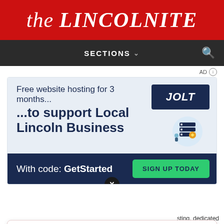the LINCOLNITE
SECTIONS
AD
[Figure (screenshot): Jolt web hosting advertisement banner. Top section on light blue background: 'Free website hosting for 3 months... ...to support Local Lincoln Business' with Jolt logo badge and server illustration. Bottom dark navy section: 'With code: GetStarted' with green 'SIGN UP TODAY' button. X close button overlay.]
“Our body is here in Lincolnshire, but our soul is
1 day ago